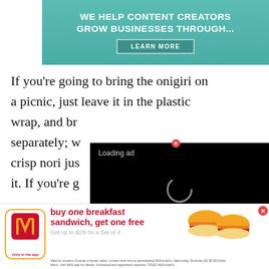[Figure (infographic): Teal/green advertisement banner reading 'WE HELP CONTENT CREATORS GROW BUSINESSES THROUGH...' with a 'LEARN MORE' button]
If you're going to bring the onigiri on a picnic, just leave it in the plastic wrap, and br[ing the nori] separately; w[rap it for] crisp nori jus[t before eating] it. If you're g[oing to]
[Figure (screenshot): Video player overlay with black background showing 'Loading ad' text, a spinning loader icon, and video controls (pause, expand, mute)]
[Figure (infographic): McDonald's banner ad: 'buy one breakfast sandwich, get one free. Only in the app.' with McDonald's logo, food images, and fine print.]